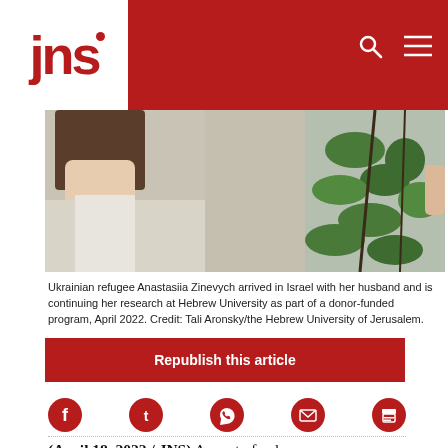jns
[Figure (photo): Partial view of a woman (Ukrainian refugee Anastasiia Zinevych) and a plant, cropped photo]
Ukrainian refugee Anastasiia Zinevych arrived in Israel with her husband and is continuing her research at Hebrew University as part of a donor-funded program, April 2022. Credit: Tali Aronsky/the Hebrew University of Jerusalem.
Republish this article
[Figure (infographic): Social share icons: Facebook, Twitter, WhatsApp, Email, Print]
(April 18, 2022 / JNS) As part of a donor